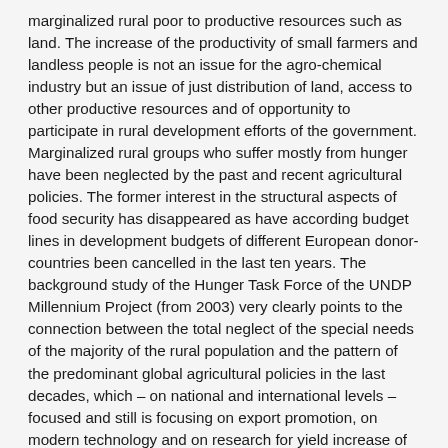marginalized rural poor to productive resources such as land. The increase of the productivity of small farmers and landless people is not an issue for the agro-chemical industry but an issue of just distribution of land, access to other productive resources and of opportunity to participate in rural development efforts of the government. Marginalized rural groups who suffer mostly from hunger have been neglected by the past and recent agricultural policies. The former interest in the structural aspects of food security has disappeared as have according budget lines in development budgets of different European donor-countries been cancelled in the last ten years. The background study of the Hunger Task Force of the UNDP Millennium Project (from 2003) very clearly points to the connection between the total neglect of the special needs of the majority of the rural population and the pattern of the predominant global agricultural policies in the last decades, which – on national and international levels – focused and still is focusing on export promotion, on modern technology and on research for yield increase of the agricultural production. Since export production is mainly done on large scale land and modernization needs a lot of resources, the majority of undernourished peasants did not and can not benefit from this agro-export promotion. New